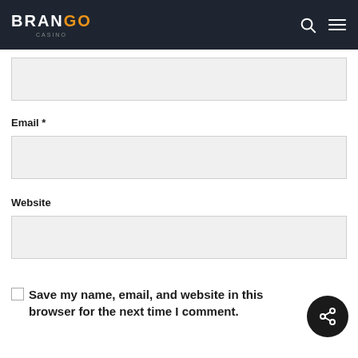Brango Casino — site header with logo, search icon, and menu icon
Name *
[Figure (other): Empty text input field for Name]
Email *
[Figure (other): Empty text input field for Email]
Website
[Figure (other): Empty text input field for Website]
Save my name, email, and website in this browser for the next time I comment.